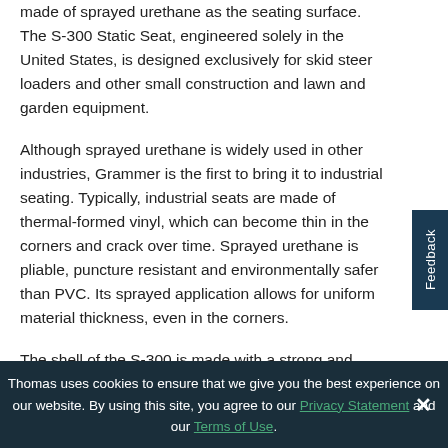made of sprayed urethane as the seating surface. The S-300 Static Seat, engineered solely in the United States, is designed exclusively for skid steer loaders and other small construction and lawn and garden equipment.
Although sprayed urethane is widely used in other industries, Grammer is the first to bring it to industrial seating. Typically, industrial seats are made of thermal-formed vinyl, which can become thin in the corners and crack over time. Sprayed urethane is pliable, puncture resistant and environmentally safer than PVC. Its sprayed application allows for uniform material thickness, even in the corners.
The shell of the S-300 is made with a strong and durable composite material. This eliminates the concern for rust, is
Thomas uses cookies to ensure that we give you the best experience on our website. By using this site, you agree to our Privacy Statement and our Terms of Use.